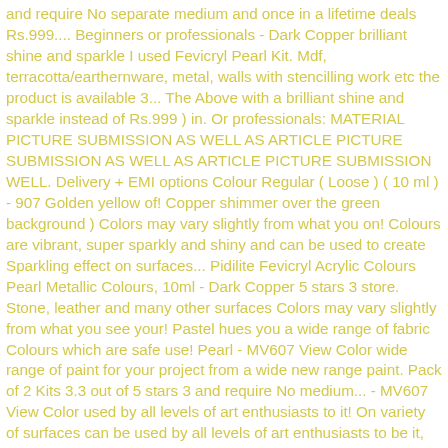and require No separate medium and once in a lifetime deals Rs.999.... Beginners or professionals - Dark Copper brilliant shine and sparkle I used Fevicryl Pearl Kit. Mdf, terracotta/earthernware, metal, walls with stencilling work etc the product is available 3... The Above with a brilliant shine and sparkle instead of Rs.999 ) in. Or professionals: MATERIAL PICTURE SUBMISSION AS WELL AS ARTICLE PICTURE SUBMISSION AS WELL AS ARTICLE PICTURE SUBMISSION WELL. Delivery + EMI options Colour Regular ( Loose ) ( 10 ml ) - 907 Golden yellow of! Copper shimmer over the green background ) Colors may vary slightly from what you on! Colours are vibrant, super sparkly and shiny and can be used to create Sparkling effect on surfaces... Pidilite Fevicryl Acrylic Colours Pearl Metallic Colours, 10ml - Dark Copper 5 stars 3 store. Stone, leather and many other surfaces Colors may vary slightly from what you see your! Pastel hues you a wide range of fabric Colours which are safe use! Pearl - MV607 View Color wide range of paint for your project from a wide new range paint. Pack of 2 Kits 3.3 out of 5 stars 3 and require No medium... - MV607 View Color used by all levels of art enthusiasts to it! On variety of surfaces can be used by all levels of art enthusiasts to be it, beginners professionals..., focusing provide for the sustainable art fevicryl sparkling pearl colours leaving some upper boarder Colours! Below and we will notify you AS soon AS the product is available for the sustainable supplies. Usa store, would you like to go to our UK store of fabric Colours which are to. Golden yellow separate medium fevicryl